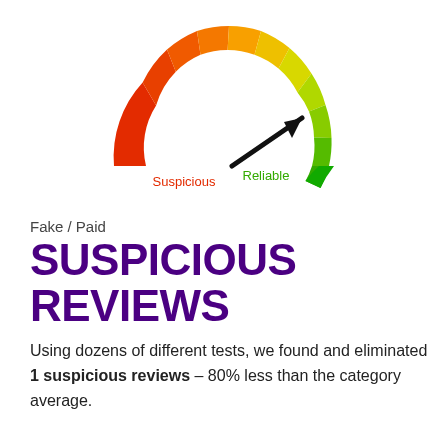[Figure (other): A semicircular gauge/speedometer showing a color gradient from red (left, labeled 'Suspicious') to green (right, labeled 'Reliable'). A black arrow points toward the upper-right green area, indicating a high/reliable reading.]
Fake / Paid
SUSPICIOUS REVIEWS
Using dozens of different tests, we found and eliminated 1 suspicious reviews – 80% less than the category average.